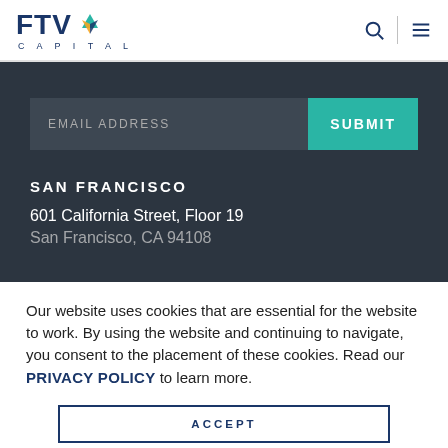FTV Capital
EMAIL ADDRESS
SUBMIT
SAN FRANCISCO
601 California Street, Floor 19
Our website uses cookies that are essential for the website to work. By using the website and continuing to navigate, you consent to the placement of these cookies. Read our PRIVACY POLICY to learn more.
ACCEPT
SELECT COOKIES